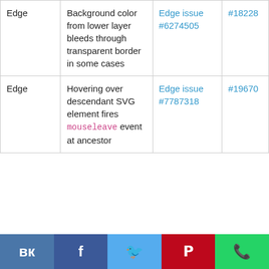| Edge | Background color from lower layer bleeds through transparent border in some cases | Edge issue #6274505 | #18228 |
| Edge | Hovering over descendant SVG element fires mouseleave event at ancestor | Edge issue #7787318 | #19670 |
VK | Facebook | Twitter | Pinterest | WhatsApp